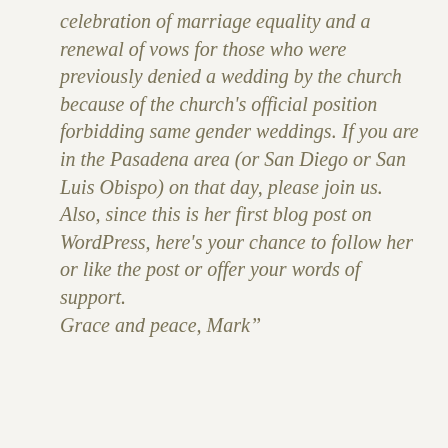celebration of marriage equality and a renewal of vows for those who were previously denied a wedding by the church because of the church's official position forbidding same gender weddings. If you are in the Pasadena area (or San Diego or San Luis Obispo) on that day, please join us. Also, since this is her first blog post on WordPress, here's your chance to follow her or like the post or offer your words of support. Grace and peace, Mark”